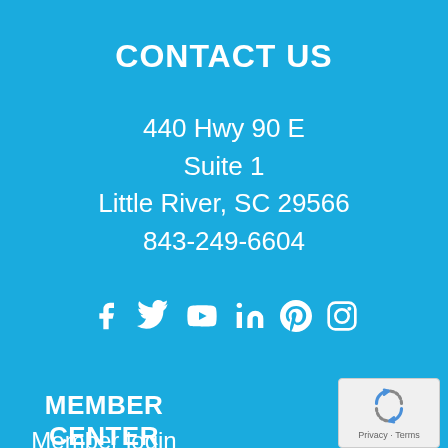CONTACT US
440 Hwy 90 E
Suite 1
Little River, SC 29566
843-249-6604
[Figure (infographic): Social media icons: Facebook, Twitter, YouTube, LinkedIn, Pinterest, Instagram]
MEMBER CENTER
Member login
[Figure (other): reCAPTCHA widget showing recycling arrows logo with Privacy and Terms text]